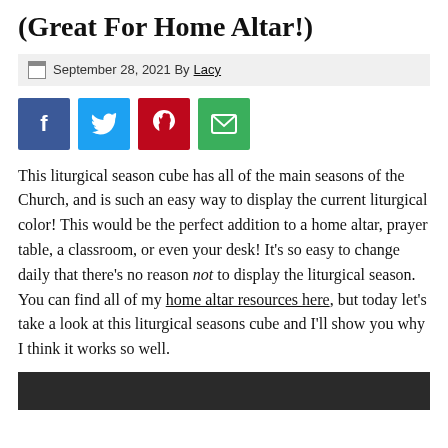(Great For Home Altar!)
September 28, 2021 By Lacy
[Figure (other): Social sharing buttons: Facebook (blue), Twitter (light blue), Pinterest (red), Email (green)]
This liturgical season cube has all of the main seasons of the Church, and is such an easy way to display the current liturgical color! This would be the perfect addition to a home altar, prayer table, a classroom, or even your desk! It’s so easy to change daily that there’s no reason not to display the liturgical season. You can find all of my home altar resources here, but today let’s take a look at this liturgical seasons cube and I’ll show you why I think it works so well.
[Figure (photo): Dark colored photo strip at the bottom of the page]